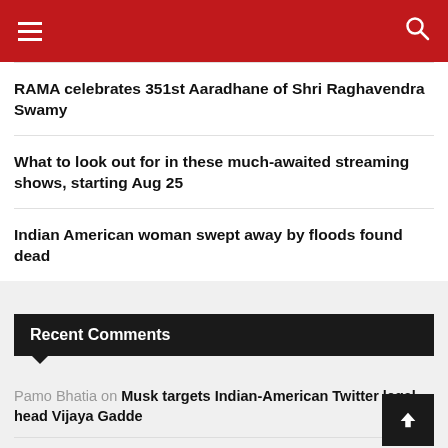Navigation header with menu and search icons
RAMA celebrates 351st Aaradhane of Shri Raghavendra Swamy
What to look out for in these much-awaited streaming shows, starting Aug 25
Indian American woman swept away by floods found dead
Recent Comments
Pamo Bhatia on Musk targets Indian-American Twitter legal head Vijaya Gadde
Scott Mac on Musk targets Indian-American Twitter legal head Vijaya Gadde